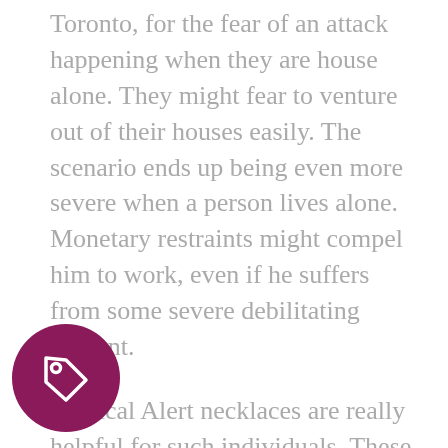Toronto, for the fear of an attack happening when they are house alone. They might fear to venture out of their houses easily. The scenario ends up being even more severe when a person lives alone. Monetary restraints might compel him to work, even if he suffers from some severe debilitating ailment.
Medical Alert necklaces are really helpful for such individuals. These necklaces and the pendants with them can be inscribed with brief but vital medical bio information and the ID of the patient– for example, his/her name, phone number, name of the medical professional and a description of the person's health problem. They can be made in lovely designs in
[Figure (illustration): A circular dark magenta/purple badge with a price tag or label icon (outline of a tag with a small circle, in white) centered within it.]